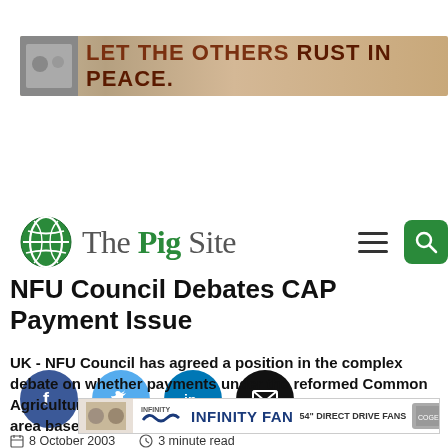[Figure (illustration): Advertisement banner: brown/tan background with silhouettes and text 'LET THE OTHERS RUST IN PEACE.']
[Figure (logo): The Pig Site logo with green globe icon, navigation menu icon, and green search button]
[Figure (illustration): Social media share buttons: Facebook (f), Twitter (bird), LinkedIn (in), Email (envelope)]
NFU Council Debates CAP Payment Issue
UK - NFU Council has agreed a position in the complex debate on whether payments under the reformed Common Agricultural Policy should be based on historical or area-based payments.
[Figure (illustration): Advertisement banner: Infinity Fan - 54" Direct Drive Fans]
8 October 2003   3 minute read